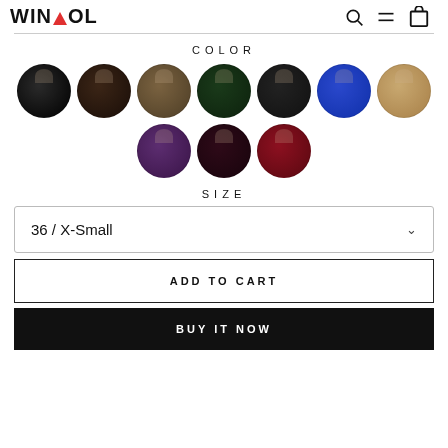WINTAOL — e-commerce product page header with logo and icons
COLOR
[Figure (illustration): 10 circular color swatches arranged in two rows showing coat fabric colors: black, dark brown, khaki/olive, dark green, charcoal, royal blue, tan/beige (row 1); purple, dark wine/maroon, red (row 2)]
SIZE
36 / X-Small
ADD TO CART
BUY IT NOW